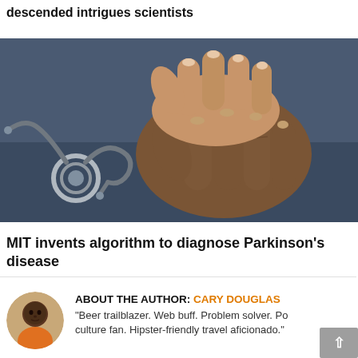descended intrigues scientists
[Figure (photo): Close-up photo of elderly patient's wrinkled hands being held by a caregiver's younger hands, with a stethoscope visible in the lower left corner on a dark blue fabric background.]
MIT invents algorithm to diagnose Parkinson's disease
ABOUT THE AUTHOR: CARY DOUGLAS
"Beer trailblazer. Web buff. Problem solver. Pop culture fan. Hipster-friendly travel aficionado."